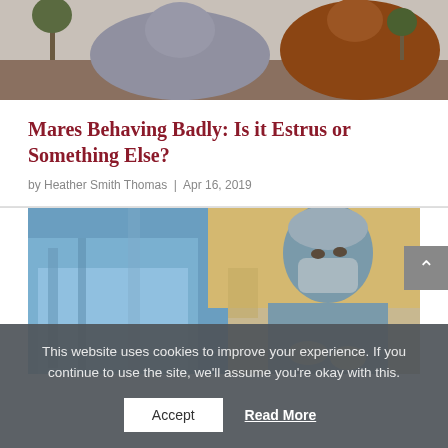[Figure (photo): Top portion of a horse photo, showing a grey/blue horse and a brown horse in the background. Only the upper body portions are visible as the image is cropped at top.]
Mares Behaving Badly: Is it Estrus or Something Else?
by Heather Smith Thomas | Apr 16, 2019
[Figure (photo): A veterinarian or surgeon wearing scrubs, surgical cap, and face mask performing a medical procedure. The image is cropped showing them working with blue surgical draping.]
This website uses cookies to improve your experience. If you continue to use the site, we'll assume you're okay with this.